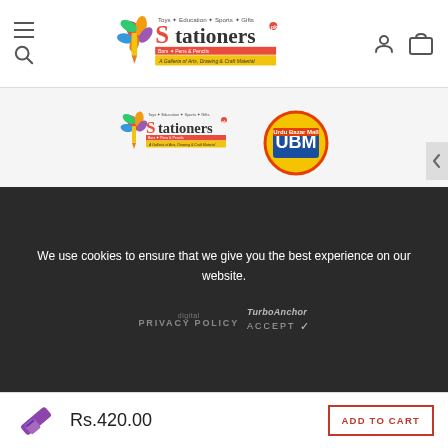Stationers.pk — navigation header with hamburger/search, logo, user and cart icons
[Figure (logo): Stationers.pk logo (left) and Urdu Bazar Mall (UBM) logo (right)]
Powered By Urdu Bazar Mall | Copyright © 2022 Stationers.pk. All rights have been reserved.
[Figure (infographic): Social media icons: Facebook, Twitter, Instagram, YouTube]
We use cookies to ensure that we give you the best experience on our website.
PRIVACY POLICY    TurboAnchor    ACCEPT ✓
Rs.420.00
ADD TO CART